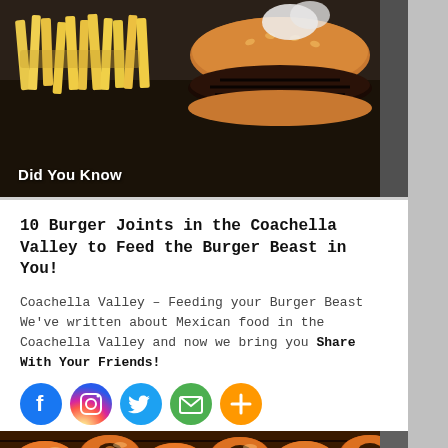[Figure (photo): Photo of a burger with fries, food on a dark background]
Did You Know
10 Burger Joints in the Coachella Valley to Feed the Burger Beast in You!
Coachella Valley – Feeding your Burger Beast We've written about Mexican food in the Coachella Valley and now we bring you
Share With Your Friends!
[Figure (infographic): Social sharing icons: Facebook, Instagram, Twitter, Email, More]
[Figure (photo): Photo of rows of glazed donuts on a rack]
Did You Know